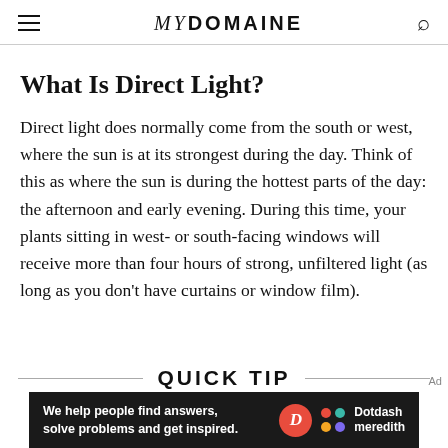MYDOMAINE
What Is Direct Light?
Direct light does normally come from the south or west, where the sun is at its strongest during the day. Think of this as where the sun is during the hottest parts of the day: the afternoon and early evening. During this time, your plants sitting in west- or south-facing windows will receive more than four hours of strong, unfiltered light (as long as you don't have curtains or window film).
QUICK TIP